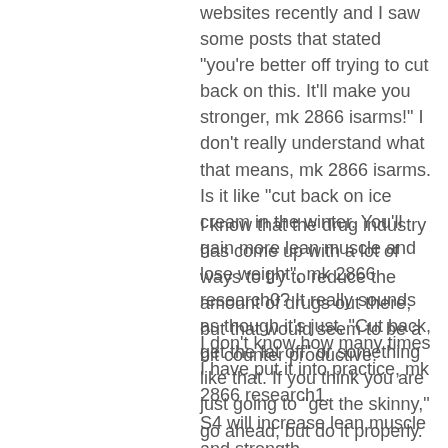websites recently and I saw some posts that stated "you're better off trying to cut back on this. It'll make you stronger, mk 2866 isarms!" I don't really understand what that means, mk 2866 isarms. Is it like "cut back on ice cream in the winter. You'll gain more lean muscle and lose weight", mk 2866 research0? It really sounds as though it's just, "Cut back, get the fat off" or something like that. If you think you are just going to "get the skinny," go ahead, but do it properly.
I know that the drug industry has come up with a lot of ways to try to reduce the amount of drugs out there, but that would seem to be a bit counter productive.
I don't know how many times I have put it into practice, mk 2866 research1.
S4 will increase lean muscle and strength